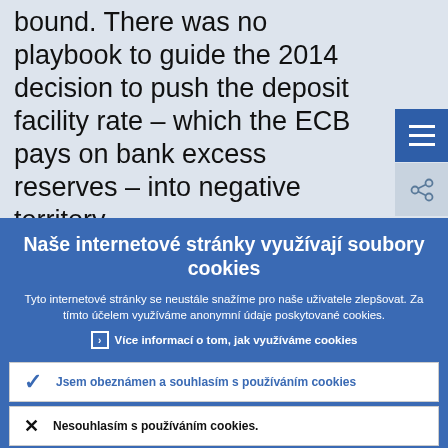bound. There was no playbook to guide the 2014 decision to push the deposit facility rate – which the ECB pays on bank excess reserves – into negative territory.
Naše internetové stránky využívají soubory cookies
Tyto internetové stránky se neustále snažíme pro naše uživatele zlepšovat. Za tímto účelem využíváme anonymní údaje poskytované cookies.
› Více informací o tom, jak využíváme cookies
✓ Jsem obeznámen a souhlasím s používáním cookies
✕ Nesouhlasím s používáním cookies.